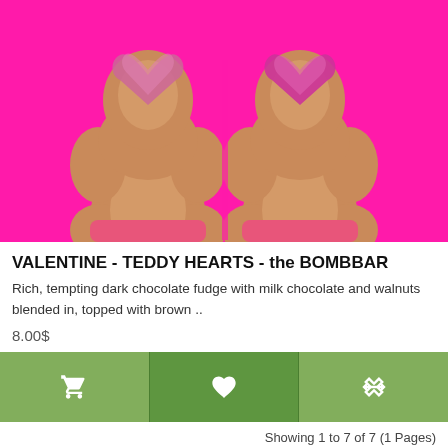[Figure (photo): Two teddy bear shaped chocolate fudge bars with pink heart decorations, photographed against a vivid hot pink background. The items are viewed from behind.]
VALENTINE - TEDDY HEARTS - the BOMBBAR
Rich, tempting dark chocolate fudge with milk chocolate and walnuts blended in, topped with brown ..
8.00$
Showing 1 to 7 of 7 (1 Pages)